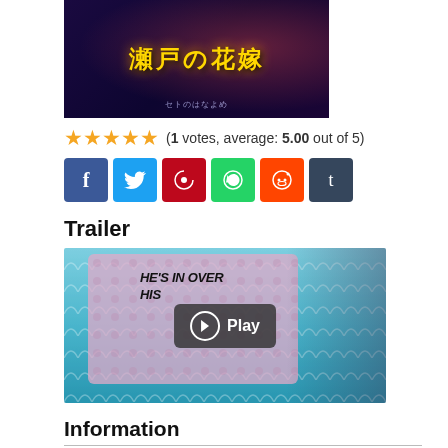[Figure (illustration): Manga cover image with Japanese title text in gold on dark background]
(1 votes, average: 5.00 out of 5)
[Figure (other): Social share buttons: Facebook, Twitter, Pinterest, WhatsApp, Reddit, Tumblr]
Trailer
[Figure (screenshot): Anime trailer thumbnail showing characters with text HE'S IN OVER HIS... and a Play button overlay]
Information
English: Seto no Hanayome, The Inland Sea Bride